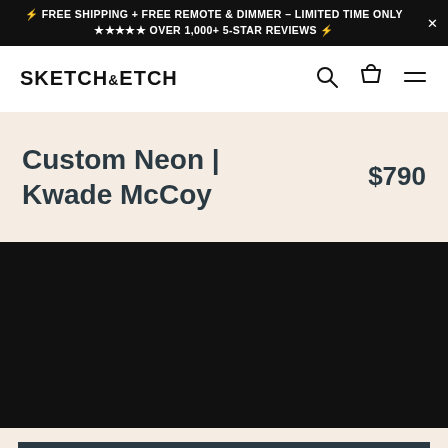⚡ FREE SHIPPING + FREE REMOTE & DIMMER – LIMITED TIME ONLY ✕ ★★★★★ OVER 1,000+ 5-STAR REVIEWS ⚡
SKETCH&ETCH
Custom Neon | Kwade McCoy $790
[Figure (photo): Black background product display area for custom neon sign]
Add To Cart – $790